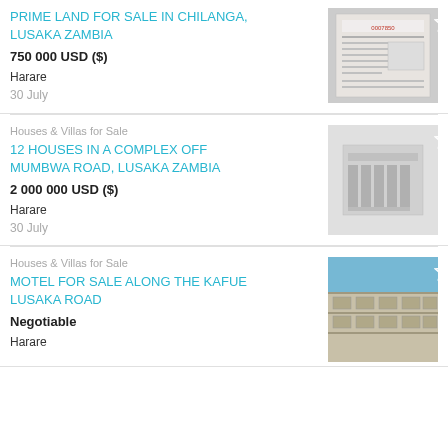PRIME LAND FOR SALE IN CHILANGA, LUSAKA ZAMBIA
750 000 USD ($)
Harare
30 July
[Figure (photo): Document/form scan photo]
Houses & Villas for Sale
12 HOUSES IN A COMPLEX OFF MUMBWA ROAD, LUSAKA ZAMBIA
2 000 000 USD ($)
Harare
30 July
[Figure (photo): Architectural floor plan illustration]
Houses & Villas for Sale
MOTEL FOR SALE ALONG THE KAFUE LUSAKA ROAD
Negotiable
Harare
[Figure (photo): Photo of a motel building exterior]